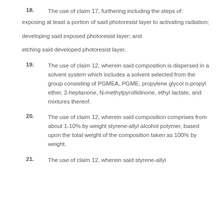18. The use of claim 17, furthering including the steps of: exposing at least a portion of said photoresist layer to activating radiation; developing said exposed photoresist layer; and etching said developed photoresist layer.
19. The use of claim 12, wherein said composition is dispersed in a solvent system which includes a solvent selected from the group consisting of PGMEA, PGME, propylene glycol n-propyl ether, 2-heptanone, N-methylpyrollidinone, ethyl lactate, and mixtures thereof.
20. The use of claim 12, wherein said composition comprises from about 1-10% by weight styrene-allyl alcohol polymer, based upon the total weight of the composition taken as 100% by weight.
21. The use of claim 12, wherein said styrene-allyl alcohol...